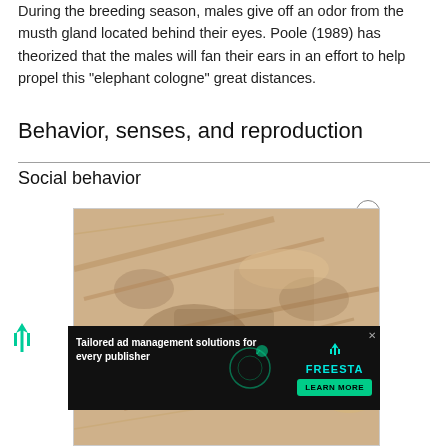During the breeding season, males give off an odor from the musth gland located behind their eyes. Poole (1989) has theorized that the males will fan their ears in an effort to help propel this "elephant cologne" great distances.
Behavior, senses, and reproduction
Social behavior
[Figure (photo): Close-up photograph of sand with marks and impressions, likely elephant footprints or tracks on sandy ground.]
[Figure (infographic): Advertisement banner: 'Tailored ad management solutions for every publisher' with FREESTA branding and 'LEARN MORE' button on dark background.]